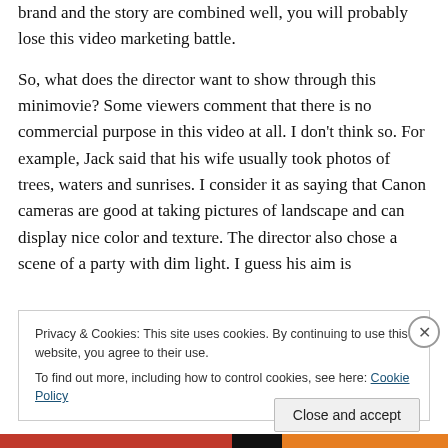brand and the story are combined well, you will probably lose this video marketing battle.
So, what does the director want to show through this minimovie? Some viewers comment that there is no commercial purpose in this video at all. I don't think so. For example, Jack said that his wife usually took photos of trees, waters and sunrises. I consider it as saying that Canon cameras are good at taking pictures of landscape and can display nice color and texture. The director also chose a scene of a party with dim light. I guess his aim is
Privacy & Cookies: This site uses cookies. By continuing to use this website, you agree to their use.
To find out more, including how to control cookies, see here: Cookie Policy
Close and accept